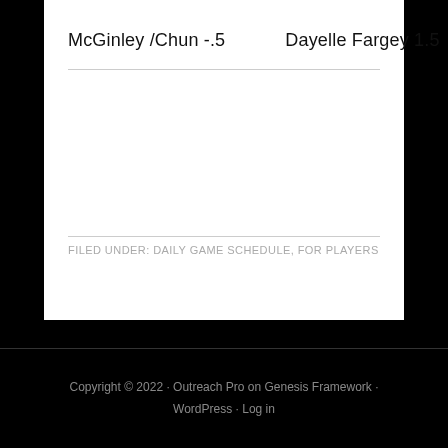McGinley /Chun -.5    Dayelle Fargey 1.5
FILED UNDER: DAILY GAME SCHEDULE, FOR PLAYERS
Copyright © 2022 · Outreach Pro on Genesis Framework · WordPress · Log in